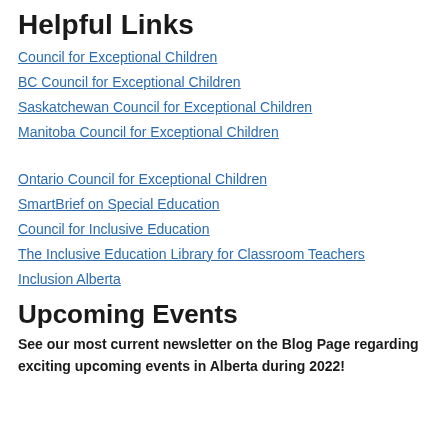Helpful Links
Council for Exceptional Children
BC Council for Exceptional Children
Saskatchewan Council for Exceptional Children
Manitoba Council for Exceptional Children
Ontario Council for Exceptional Children
SmartBrief on Special Education
Council for Inclusive Education
The Inclusive Education Library for Classroom Teachers
Inclusion Alberta
Upcoming Events
See our most current newsletter on the Blog Page regarding exciting upcoming events in Alberta during 2022!